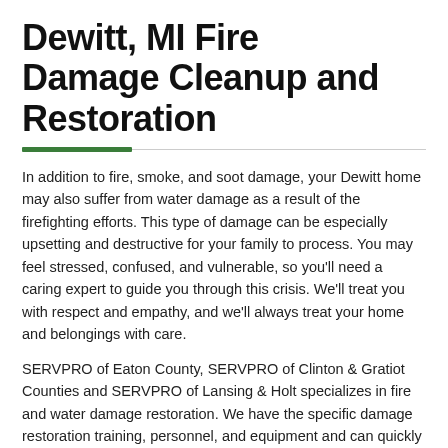Dewitt, MI Fire Damage Cleanup and Restoration
In addition to fire, smoke, and soot damage, your Dewitt home may also suffer from water damage as a result of the firefighting efforts. This type of damage can be especially upsetting and destructive for your family to process. You may feel stressed, confused, and vulnerable, so you'll need a caring expert to guide you through this crisis. We'll treat you with respect and empathy, and we'll always treat your home and belongings with care.
SERVPRO of Eaton County, SERVPRO of Clinton & Gratiot Counties and SERVPRO of Lansing & Holt specializes in fire and water damage restoration. We have the specific damage restoration training, personnel, and equipment and can quickly restore your home to pre-fire condition.
Please refer to our Fire Damage Tips - Until Help Arrives